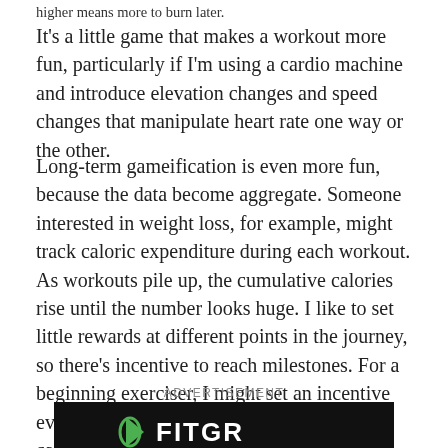higher means more to burn later.
It's a little game that makes a workout more fun, particularly if I'm using a cardio machine and introduce elevation changes and speed changes that manipulate heart rate one way or the other.
Long-term gameification is even more fun, because the data become aggregate. Someone interested in weight loss, for example, might track caloric expenditure during each workout. As workouts pile up, the cumulative calories rise until the number looks huge. I like to set little rewards at different points in the journey, so there's incentive to reach milestones. For a beginning exerciser, I might set an incentive every 10,000 calories. If they average 500 calories per session, they would be rewarded every 20 workouts.
ADVERTISEMENT
[Figure (logo): Advertisement banner with dark background showing a logo with green graphic element and stylized text]